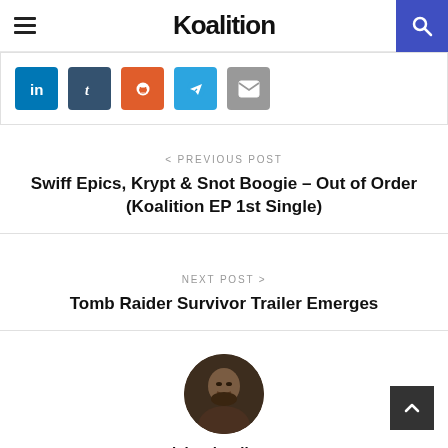Koalition
[Figure (infographic): Social share buttons: LinkedIn (blue), Tumblr (dark blue), Reddit (orange), Telegram (blue), Email (gray)]
< PREVIOUS POST
Swiff Epics, Krypt & Snot Boogie – Out of Order (Koalition EP 1st Single)
NEXT POST >
Tomb Raider Survivor Trailer Emerges
[Figure (photo): Circular profile photo of Richard Bailey Jr., a man with a beard looking slightly upward]
Richard Bailey Jr.